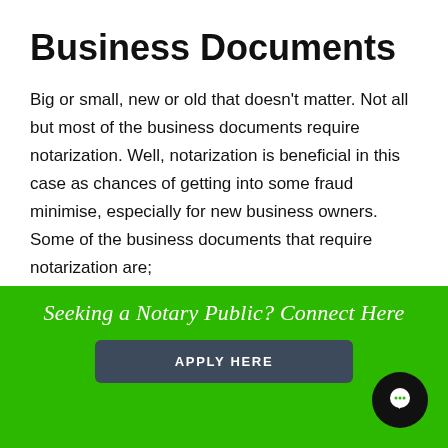Business Documents
Big or small, new or old that doesn't matter. Not all but most of the business documents require notarization. Well, notarization is beneficial in this case as chances of getting into some fraud minimise, especially for new business owners. Some of the business documents that require notarization are;
Vendor contracts: To avoid fraud from any side, in the presence of a notary public, the parties involved
Seeking a Notary Public? Connect Here
APPLY HERE